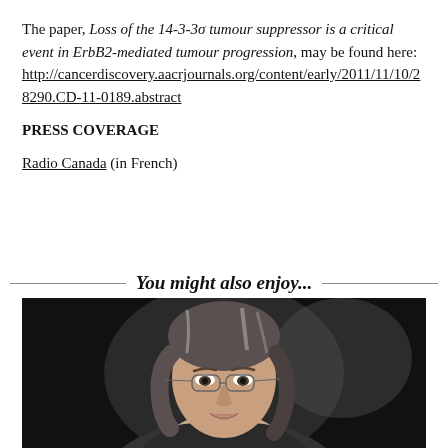The paper, Loss of the 14-3-3σ tumour suppressor is a critical event in ErbB2-mediated tumour progression, may be found here: http://cancerdiscovery.aacrjournals.org/content/early/2011/11/10/2 8290.CD-11-0189.abstract
PRESS COVERAGE
Radio Canada (in French)
You might also enjoy...
[Figure (photo): Portrait photo of a woman with grey-brown hair, wearing glasses, against a dark background]